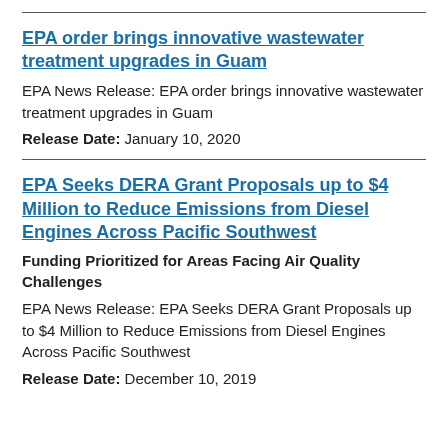EPA order brings innovative wastewater treatment upgrades in Guam
EPA News Release: EPA order brings innovative wastewater treatment upgrades in Guam
Release Date: January 10, 2020
EPA Seeks DERA Grant Proposals up to $4 Million to Reduce Emissions from Diesel Engines Across Pacific Southwest
Funding Prioritized for Areas Facing Air Quality Challenges
EPA News Release: EPA Seeks DERA Grant Proposals up to $4 Million to Reduce Emissions from Diesel Engines Across Pacific Southwest
Release Date: December 10, 2019